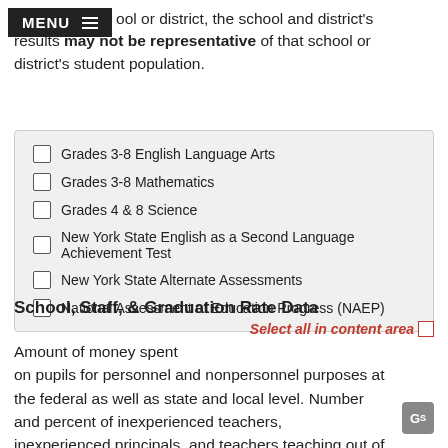ool or district, the school and district's results may not be representative of that school or district's student population.
Grades 3-8 English Language Arts
Grades 3-8 Mathematics
Grades 4 & 8 Science
New York State English as a Second Language Achievement Test
New York State Alternate Assessments
National Assessment of Education Progress (NAEP)
School, Staff, & Graduation Rate Data
Select all in content area
Amount of money spent on pupils for personnel and nonpersonnel purposes at the federal as well as state and local level. Number and percent of inexperienced teachers, inexperienced principals, and teachers teaching out of certification.